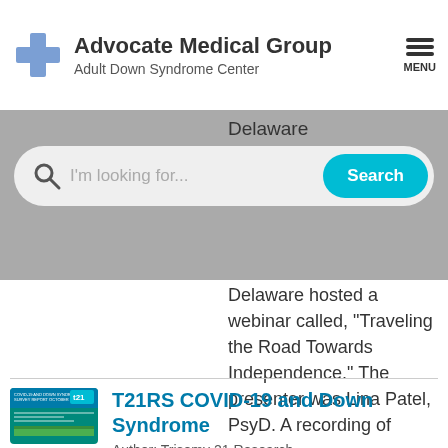Advocate Medical Group | Adult Down Syndrome Center
Delaware
I'm looking for...
Delaware hosted a webinar called, "Traveling the Road Towards Independence." The presenter was Lina Patel, PsyD. A recording of
T21RS COVID-19 and Down Syndrome
Author: Trisomy 21 Research
[Figure (screenshot): Thumbnail of T21RS COVID-19 and Down Syndrome survey report document cover, teal/blue colored with text]